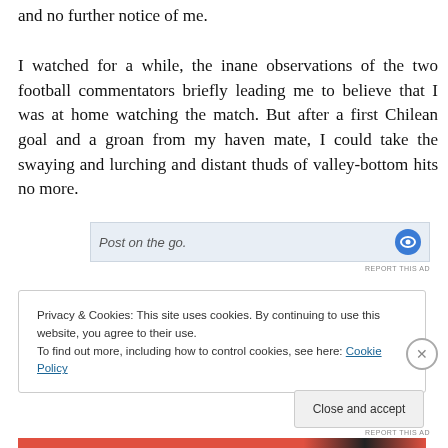and no further notice of me.
I watched for a while, the inane observations of the two football commentators briefly leading me to believe that I was at home watching the match. But after a first Chilean goal and a groan from my haven mate, I could take the swaying and lurching and distant thuds of valley-bottom hits no more.
[Figure (screenshot): Advertisement banner reading 'Post on the go.' with a blue circular icon on the right]
REPORT THIS AD
Privacy & Cookies: This site uses cookies. By continuing to use this website, you agree to their use.
To find out more, including how to control cookies, see here: Cookie Policy
Close and accept